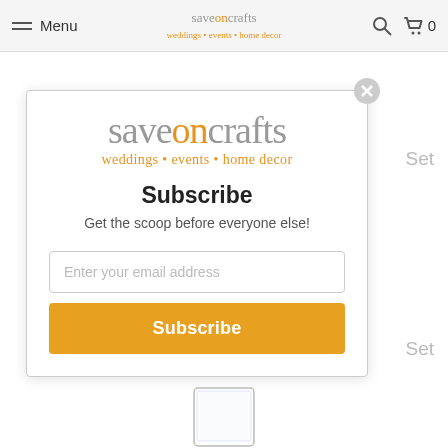Menu | saveoncrafts weddings • events • home decor
[Figure (screenshot): saveoncrafts logo with tagline 'weddings • events • home decor' displayed in modal]
Subscribe
Get the scoop before everyone else!
Enter your email address
Subscribe